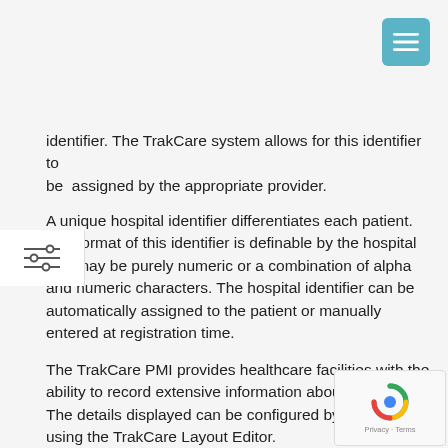identifier. The TrakCare system allows for this identifier to be assigned by the appropriate provider.
A unique hospital identifier differentiates each patient. The format of this identifier is definable by the hospital and may be purely numeric or a combination of alpha and numeric characters. The hospital identifier can be automatically assigned to the patient or manually entered at registration time.
The TrakCare PMI provides healthcare facilities with the ability to record extensive information about a patient. The details displayed can be configured by the hospital using the TrakCare Layout Editor.
Typically, this screen would contain:
Fields for entering a patient's socio-demographic details to defining mandatory fields (e.g., patient's surname, given name, sex, date of birth, address